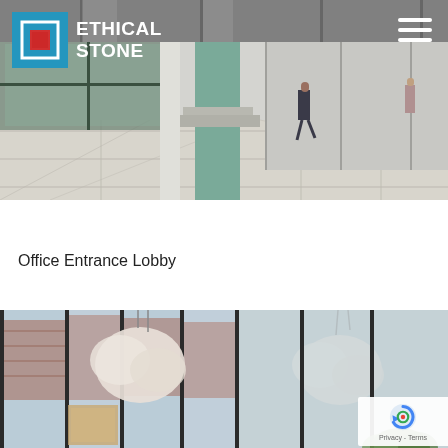[Figure (photo): Large entrance lobby of an office building with marble/stone floors, green columns, steps, and a person walking. Overhead natural light. Ethical Stone logo and hamburger menu overlay on top.]
Office Entrance Lobby
[Figure (photo): Interior photo showing hanging cloud-like pendant lights against large industrial windows with brick building visible outside. Green plants visible at bottom right. reCAPTCHA badge visible in bottom right corner.]